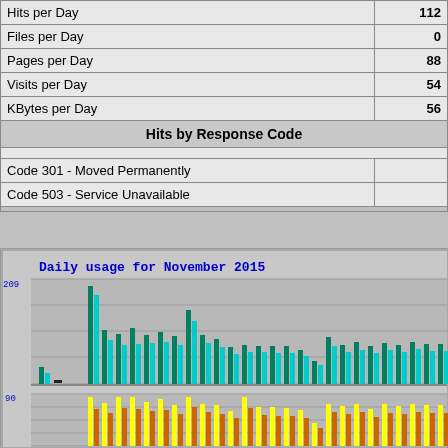| Metric | Value |
| --- | --- |
| Hits per Day | 112 |
| Files per Day | 0 |
| Pages per Day | 88 |
| Visits per Day | 54 |
| KBytes per Day | 56 |
| Hits by Response Code |  |
|  |  |
| Code 301 - Moved Permanently |  |
| Code 503 - Service Unavailable |  |
[Figure (grouped-bar-chart): Daily usage bar chart for November 2015 showing hits (green), pages (cyan) in top panel and visits (yellow) and KBytes (orange) in bottom panel. Y-axis shows values up to 209 in top panel and 90 in bottom panel.]